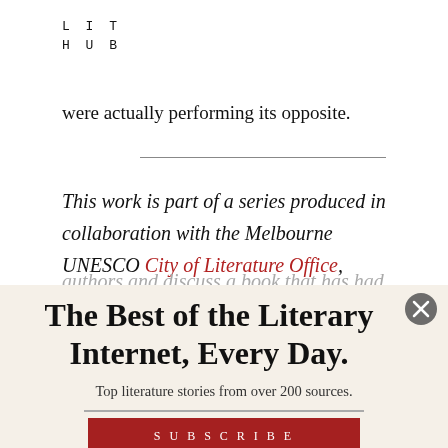LIT
HUB
were actually performing its opposite.
This work is part of a series produced in collaboration with the Melbourne UNESCO City of Literature Office, where Australian authors ...
The Best of the Literary Internet, Every Day.
Top literature stories from over 200 sources.